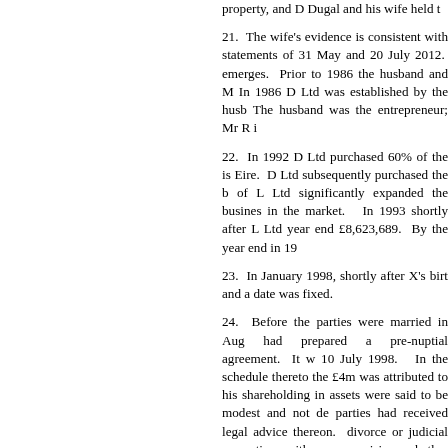property, and D Dugal and his wife held the...
21. The wife's evidence is consistent with statements of 31 May and 20 July 2012. emerges. Prior to 1986 the husband and M... In 1986 D Ltd was established by the husb... The husband was the entrepreneur; Mr R i...
22. In 1992 D Ltd purchased 60% of the is... Eire. D Ltd subsequently purchased the b... of L Ltd significantly expanded the busines... in the market. In 1993 shortly after L Ltd... year end £8,623,689. By the year end in 19...
23. In January 1998, shortly after X's birt... and a date was fixed.
24. Before the parties were married in Aug... had prepared a pre-nuptial agreement. It w... 10 July 1998. In the schedule thereto the... £4m was attributed to his shareholding in... assets were said to be modest and not de... parties had received legal advice thereon. divorce or judicial separation neither pa... provision, whether income and/or capital,... price inflation.
25. Despite the evidence filed on behalf... agreement, Mr Le Grice in his position...